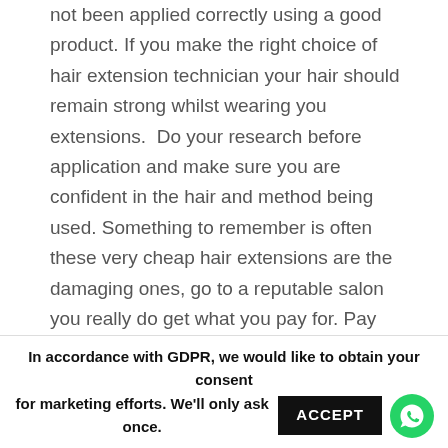not been applied correctly using a good product. If you make the right choice of hair extension technician your hair should remain strong whilst wearing you extensions.  Do your research before application and make sure you are confident in the hair and method being used. Something to remember is often these very cheap hair extensions are the damaging ones, go to a reputable salon you really do get what you pay for. Pay cheap- Pay Twice! x
SUBMIT A COMMENT
In accordance with GDPR, we would like to obtain your consent for marketing efforts. We'll only ask once.